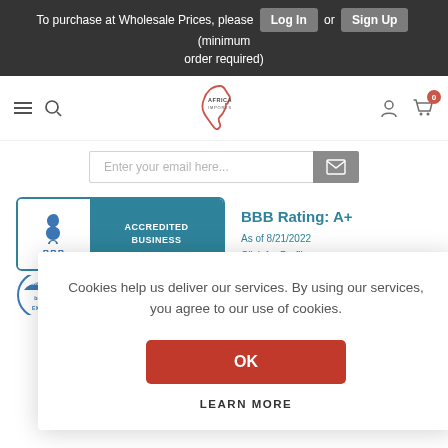To purchase at Wholesale Prices, please Log In or Sign Up (minimum order required)
[Figure (logo): Africa Imports logo - outline of Africa continent in red/orange with text AFRICA IMPORTS]
[Figure (screenshot): Email subscription input field with placeholder 'Enter your email here...' and a send button]
[Figure (logo): BBB Accredited Business badge with rating A+ as of 8/21/2022 and Click for Profile link]
[Figure (logo): Partial Circle of Excellence badge, year 2021]
Cookies help us deliver our services. By using our services, you agree to our use of cookies.
OK
LEARN MORE